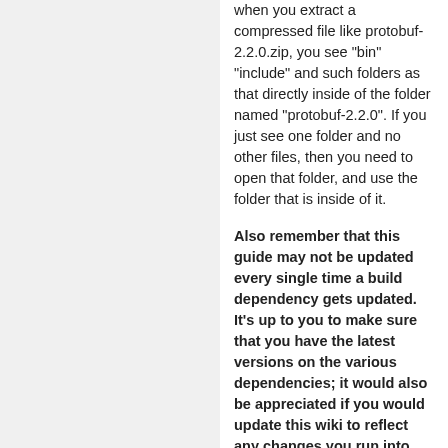when you extract a compressed file like protobuf-2.2.0.zip, you see "bin" "include" and such folders as that directly inside of the folder named "protobuf-2.2.0". If you just see one folder and no other files, then you need to open that folder, and use the folder that is inside of it.
Also remember that this guide may not be updated every single time a build dependency gets updated. It's up to you to make sure that you have the latest versions on the various dependencies; it would also be appreciated if you would update this wiki to reflect any changes you run into.